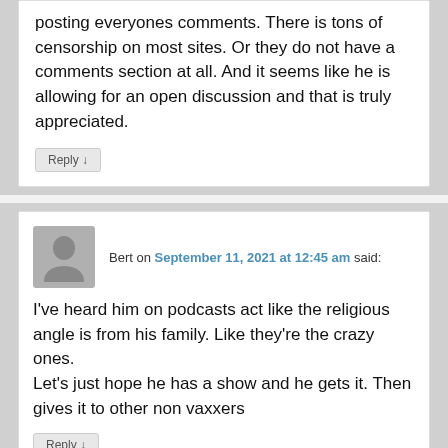posting everyones comments. There is tons of censorship on most sites. Or they do not have a comments section at all. And it seems like he is allowing for an open discussion and that is truly appreciated.
Reply ↓
Bert on September 11, 2021 at 12:45 am said:
I've heard him on podcasts act like the religious angle is from his family. Like they're the crazy ones. Let's just hope he has a show and he gets it. Then gives it to other non vaxxers
Reply ↓